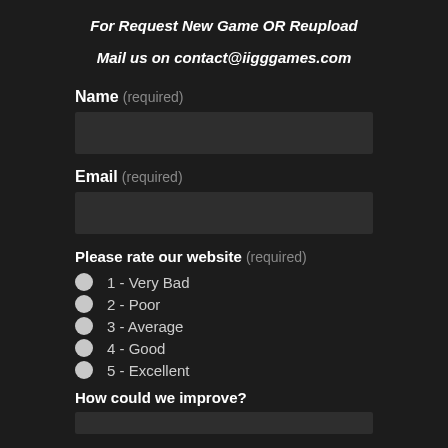For Request New Game OR Reupload
Mail us on contact@iigggames.com
Name (required)
Email (required)
Please rate our website (required)
1 - Very Bad
2 - Poor
3 - Average
4 - Good
5 - Excellent
How could we improve?